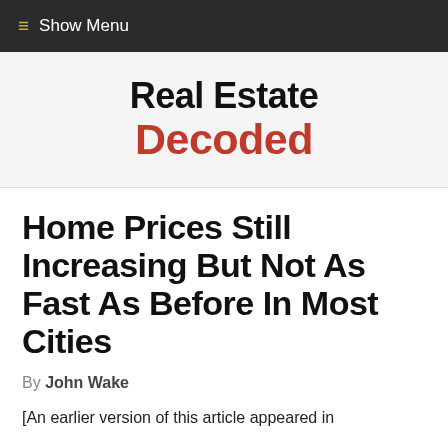≡ Show Menu
Real Estate Decoded
Home Prices Still Increasing But Not As Fast As Before In Most Cities
By John Wake
[An earlier version of this article appeared in